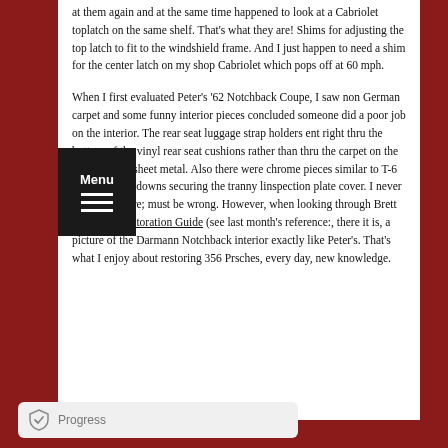at them again and at the same time happened to look at a Cabriolet toplatch on the same shelf. That's what they are! Shims for adjusting the top latch to fit to the windshield frame. And I just happen to need a shim for the center latch on my shop Cabriolet which pops off at 60 mph.
When I first evaluated Peter's '62 Notchback Coupe, I saw non German carpet and some funny interior pieces concluded someone did a poor job on the interior. The rear seat luggage strap holders ent right thru the bottom of the vinyl rear seat cushions rather than thru the carpet on the rear verticlal sheet metal. Also there were chrome pieces similar to T-6 gas tank hold downs securing the tranny linspection plate cover. I never saw this before; must be wrong. However, when looking through Brett Johnson's Restoration Guide (see last month's reference:, there it is, a picture of the Darmann Notchback interior exactly like Peter's. That's what I enjoy about restoring 356 Prsches, every day, new knowledge.
Progress